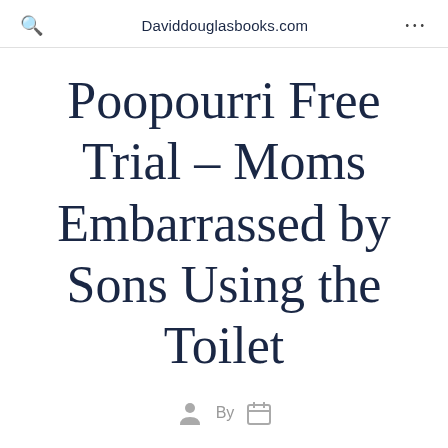Daviddouglasbooks.com
Poopourri Free Trial – Moms Embarrassed by Sons Using the Toilet
By
Do moms get embarrassed by their kids using the